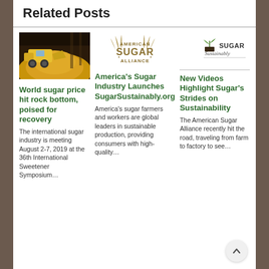Related Posts
[Figure (photo): Construction vehicle moving sugar cane or similar agricultural product indoors]
World sugar price hit rock bottom, poised for recovery
The international sugar industry is meeting August 2-7, 2019 at the 36th International Sweetener Symposium…
[Figure (logo): American Sugar Alliance logo]
America's Sugar Industry Launches SugarSustainably.org
America's sugar farmers and workers are global leaders in sustainable production, providing consumers with high-quality…
[Figure (logo): Sugar Sustainably logo with plant icon]
New Videos Highlight Sugar's Strides on Sustainability
The American Sugar Alliance recently hit the road, traveling from farm to factory to see…